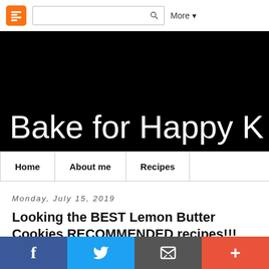Blogger navigation bar with search and More menu
[Figure (screenshot): Black banner with white stylized text 'Bake for Happy K' (truncated)]
Home | About me | Recipes
Monday, July 15, 2019
Looking the BEST Lemon Butter Cookies RECOMMENDED recipes!!!
Looking for the BEST lemon butter cookies?